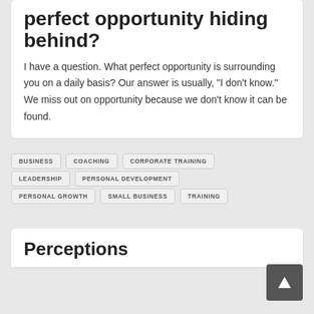perfect opportunity hiding behind?
I have a question. What perfect opportunity is surrounding you on a daily basis? Our answer is usually, “I don’t know.” We miss out on opportunity because we don’t know it can be found.
BUSINESS
COACHING
CORPORATE TRAINING
LEADERSHIP
PERSONAL DEVELOPMENT
PERSONAL GROWTH
SMALL BUSINESS
TRAINING
Perceptions